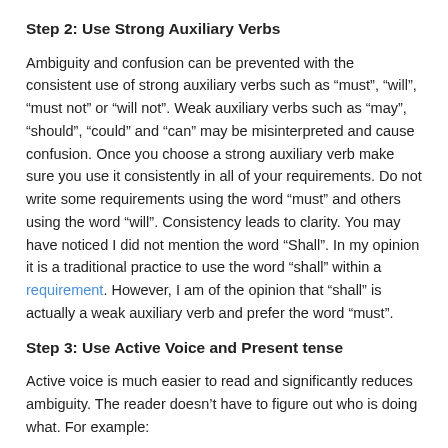Step 2: Use Strong Auxiliary Verbs
Ambiguity and confusion can be prevented with the consistent use of strong auxiliary verbs such as “must”, “will”, “must not” or “will not”. Weak auxiliary verbs such as “may”, “should”, “could” and “can” may be misinterpreted and cause confusion. Once you choose a strong auxiliary verb make sure you use it consistently in all of your requirements. Do not write some requirements using the word “must” and others using the word “will”. Consistency leads to clarity. You may have noticed I did not mention the word “Shall”. In my opinion it is a traditional practice to use the word “shall” within a requirement. However, I am of the opinion that “shall” is actually a weak auxiliary verb and prefer the word “must”.
Step 3: Use Active Voice and Present tense
Active voice is much easier to read and significantly reduces ambiguity. The reader doesn’t have to figure out who is doing what. For example:
Passive voice: “A user account must be created for the customer.”
Passive requirements have the Subject at the end of the sentence. This